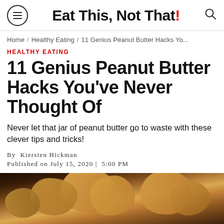Eat This, Not That!
Home / Healthy Eating / 11 Genius Peanut Butter Hacks Yo...
HEALTHY EATING
11 Genius Peanut Butter Hacks You've Never Thought Of
Never let that jar of peanut butter go to waste with these clever tips and tricks!
By Kiersten Hickman
Published on July 15, 2020 | 5:00 PM
[Figure (photo): Close-up photo of peanut butter clusters or peanut butter cookies on a dark background]